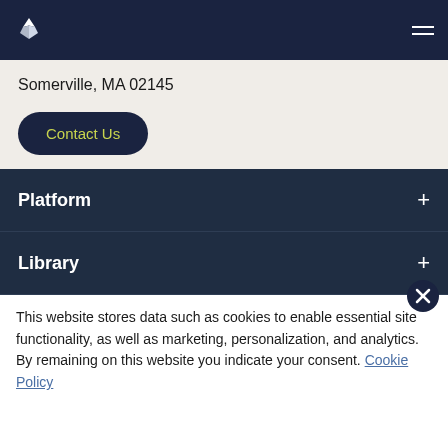Logo and navigation header
Somerville, MA 02145
Contact Us
Platform
Library
This website stores data such as cookies to enable essential site functionality, as well as marketing, personalization, and analytics. By remaining on this website you indicate your consent. Cookie Policy